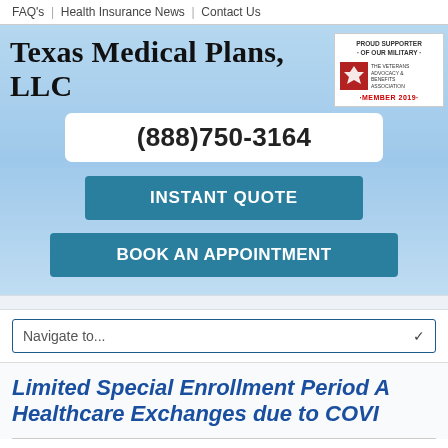FAQ's | Health Insurance News | Contact Us
Texas Medical Plans, LLC
[Figure (logo): Proud Supporter of Our Military - The Veterans Advocacy & Benefits Association - MEMBER 2019 badge]
(888)750-3164
INSTANT QUOTE
BOOK AN APPOINTMENT
Navigate to...
Limited Special Enrollment Period A Healthcare Exchanges due to COVI